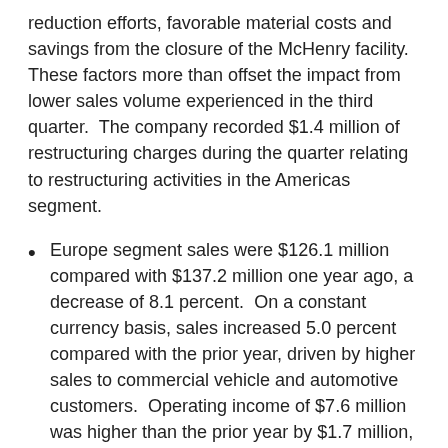reduction efforts, favorable material costs and savings from the closure of the McHenry facility.  These factors more than offset the impact from lower sales volume experienced in the third quarter.  The company recorded $1.4 million of restructuring charges during the quarter relating to restructuring activities in the Americas segment.
Europe segment sales were $126.1 million compared with $137.2 million one year ago, a decrease of 8.1 percent.  On a constant currency basis, sales increased 5.0 percent compared with the prior year, driven by higher sales to commercial vehicle and automotive customers.  Operating income of $7.6 million was higher than the prior year by $1.7 million, due to higher sales volume, favorable material costs and improved operating performance more than offsetting the prior-year $3.2 million gain on sale of a wind tunnel and $1.1